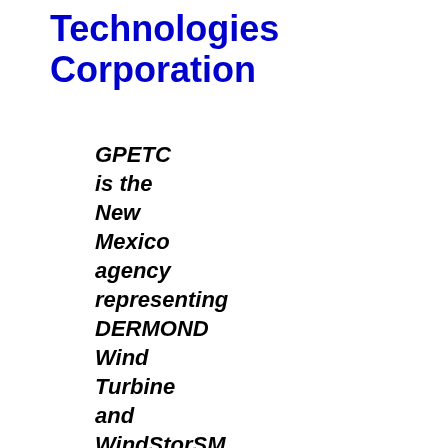Technologies Corporation
GPETC is the New Mexico agency representing DERMOND Wind Turbine and WindStorSM Systems, which comports superior technological energy cost resolution potential. This power...